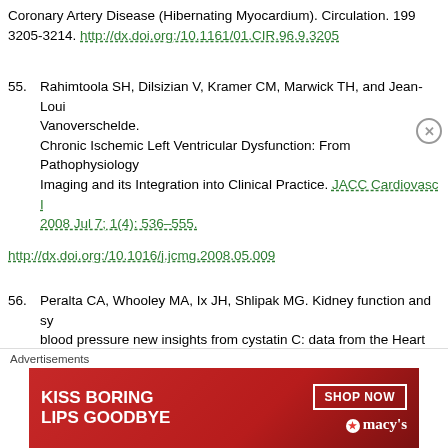Coronary Artery Disease (Hibernating Myocardium). Circulation. 199 3205-3214. http://dx.doi.org:/10.1161/01.CIR.96.9.3205
55. Rahimtoola SH, Dilsizian V, Kramer CM, Marwick TH, and Jean-Loui Vanoverschelde. Chronic Ischemic Left Ventricular Dysfunction: From Pathophysiology Imaging and its Integration into Clinical Practice. JACC Cardiovasc I 2008 Jul 7; 1(4): 536–555.
http://dx.doi.org:/10.1016/j.jcmg.2008.05.009
56. Peralta CA, Whooley MA, Ix JH, Shlipak MG. Kidney function and sy blood pressure new insights from cystatin C: data from the Heart and Study. Am J Hypertens. 2006 Sep; 19(9):939-46.
[Figure (other): Macy's advertisement banner: 'KISS BORING LIPS GOODBYE' with SHOP NOW button and Macy's logo]